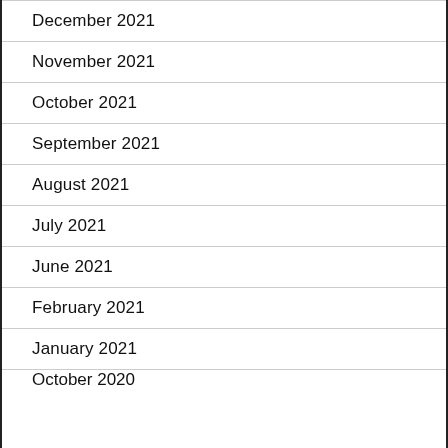December 2021
November 2021
October 2021
September 2021
August 2021
July 2021
June 2021
February 2021
January 2021
October 2020